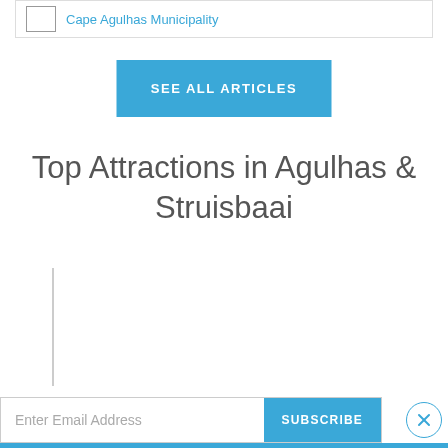Cape Agulhas Municipality
SEE ALL ARTICLES
Top Attractions in Agulhas & Struisbaai
Enter Email Address
SUBSCRIBE